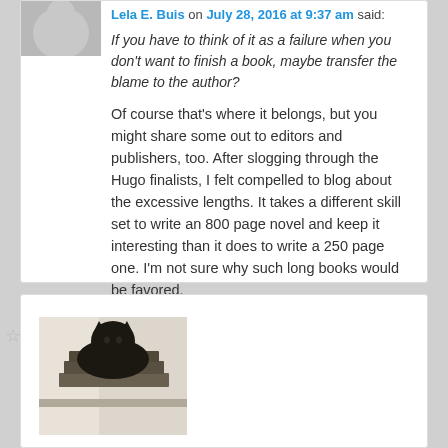Lela E. Buis on July 28, 2016 at 9:37 am said:
If you have to think of it as a failure when you don't want to finish a book, maybe transfer the blame to the author?
Of course that's where it belongs, but you might share some out to editors and publishers, too. After slogging through the Hugo finalists, I felt compelled to blog about the excessive lengths. It takes a different skill set to write an 800 page novel and keep it interesting than it does to write a 250 page one. I'm not sure why such long books would be favored.
[Figure (photo): A photograph of a cat sitting on a stack of books, partially visible at bottom of page]